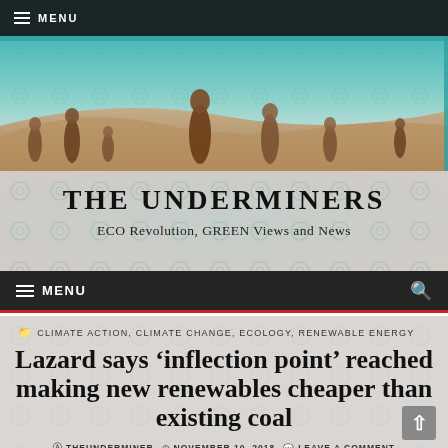MENU
[Figure (illustration): Banner image showing meerkats standing upright against a stylized painted landscape with blue-green sky and sandy terrain]
THE UNDERMINERS
ECO Revolution, GREEN Views and News
MENU
CLIMATE ACTION, CLIMATE CHANGE, ECOLOGY, RENEWABLE ENERGY
Lazard says ‘inflection point’ reached making new renewables cheaper than existing coal
THEUNDERMINER  NOVEMBER 10, 2018  LEAVE A COMMENT